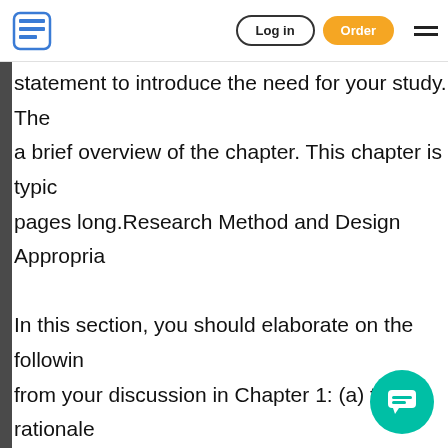Log in | Order
statement to introduce the need for your study. The a brief overview of the chapter. This chapter is typically pages long. Research Method and Design Appropriateness In this section, you should elaborate on the following from your discussion in Chapter 1: (a) the rationale proposed research method (quantitative, qualitative, mixed), (b) rational for your proposed research design appropriateness to your study, (c) why the proposed will accomplish your study goals, and (d) why the proposed design is the best choice for your specific research. Population, Sampling, Data Collection Pr...